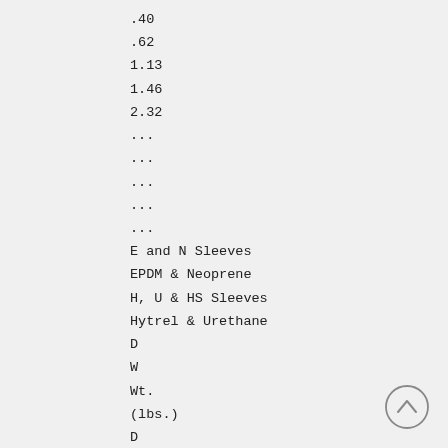.40
.62
1.13
1.46
2.32
...
...
...
...
...
E and N Sleeves
EPDM & Neoprene
H, U & HS Sleeves
Hytrel & Urethane
D
W
Wt.
(lbs.)
D
W
Wt.
(lbs.)
...
2 5/16